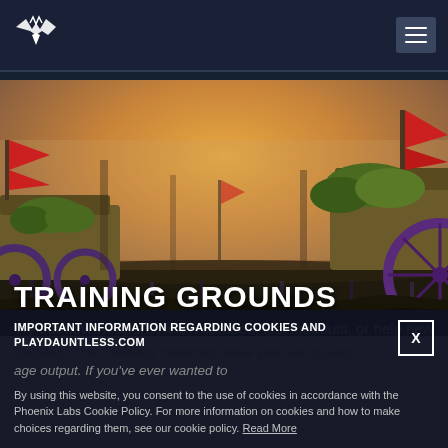Dauntless navigation bar with logo and hamburger menu
[Figure (screenshot): Hero banner image showing Training Grounds scene: two large wheeled siege-like contraptions with red banners and green/purple decorations on a grassy field with warm orange foggy sky background]
TRAINING GROUNDS
Try out new weapons, learn combos, test loadouts, or help new players! The Training Grounds have arrived, giving
age output. If you've ever wanted to
IMPORTANT INFORMATION REGARDING COOKIES AND PLAYDAUNTLESS.COM
By using this website, you consent to the use of cookies in accordance with the Phoenix Labs Cookie Policy. For more information on cookies and how to make choices regarding them, see our cookie policy. Read More